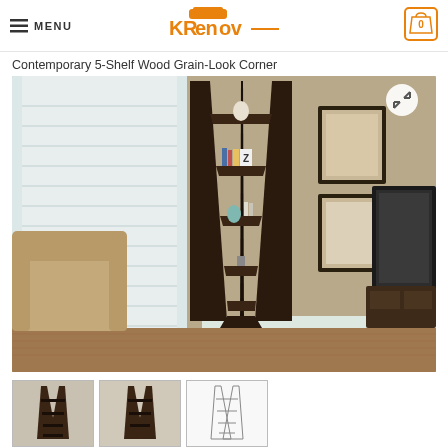MENU | KRenov | 0
Contemporary 5-Shelf Wood Grain-Look Corner
[Figure (photo): A tall dark espresso 5-shelf corner ladder bookcase displayed in a living room setting with a beige armchair on the left, framed art on the wall, and a TV with media console on the right. The bookcase holds decorative items and books on its shelves.]
[Figure (photo): Thumbnail images of the corner bookcase product from various angles at the bottom of the page.]